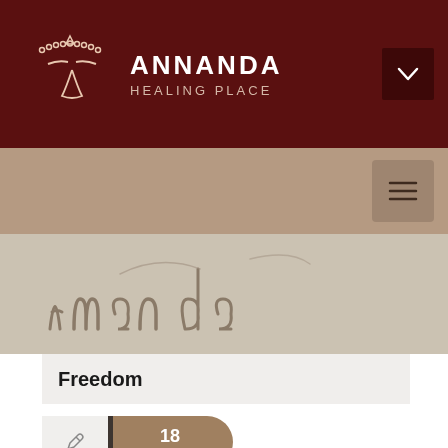ANNANDA HEALING PLACE
[Figure (photo): Sand with 'Annanda' written in it]
Freedom
18 OCT